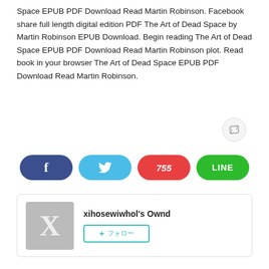Space EPUB PDF Download Read Martin Robinson. Facebook share full length digital edition PDF The Art of Dead Space by Martin Robinson EPUB Download. Begin reading The Art of Dead Space EPUB PDF Download Read Martin Robinson plot. Read book in your browser The Art of Dead Space EPUB PDF Download Read Martin Robinson.
[Figure (other): Social share buttons: Facebook (dark blue with f icon), Twitter (light blue with bird icon), Hatena (red with 755 count), LINE (green with LINE text)]
[Figure (other): Profile card for xihosewiwhol's Ownd with grey X avatar and a follow button]